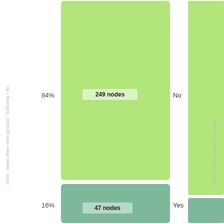[Figure (bar-chart): Treemap / bar chart showing trafficking = No (84%, 249 nodes) and Yes (16%, 47 nodes)]